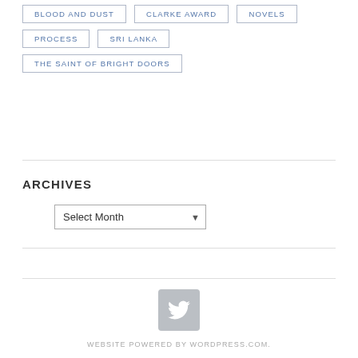BLOOD AND DUST
CLARKE AWARD
NOVELS
PROCESS
SRI LANKA
THE SAINT OF BRIGHT DOORS
ARCHIVES
Select Month
[Figure (logo): Twitter bird icon in a grey rounded square]
WEBSITE POWERED BY WORDPRESS.COM.